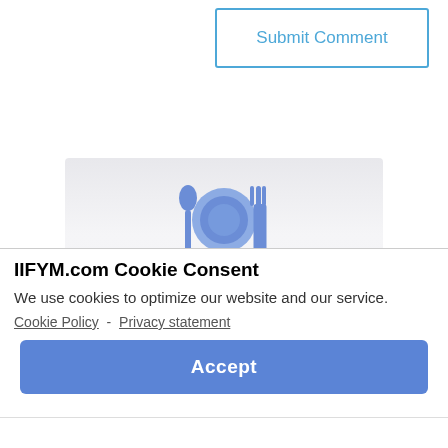Submit Comment
[Figure (illustration): Plate with spoon and fork icon in blue, partial view of food-related ad banner with text 'What is your']
IIFYM.com Cookie Consent
We use cookies to optimize our website and our service.
Cookie Policy  -  Privacy statement
Accept